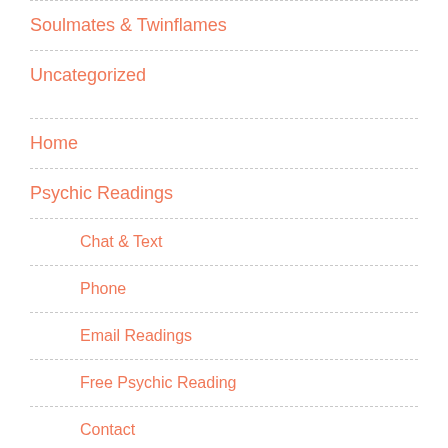Soulmates & Twinflames
Uncategorized
Home
Psychic Readings
Chat & Text
Phone
Email Readings
Free Psychic Reading
Contact